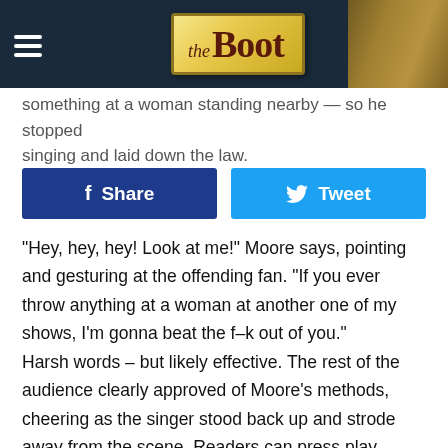the Boot
something at a woman standing nearby — so he stopped singing and laid down the law.
[Figure (other): Facebook Share button and Twitter Tweet button side by side]
"Hey, hey, hey! Look at me!" Moore says, pointing and gesturing at the offending fan. "If you ever throw anything at a woman at another one of my shows, I'm gonna beat the f–k out of you."
Harsh words – but likely effective. The rest of the audience clearly approved of Moore's methods, cheering as the singer stood back up and strode away from the scene. Readers can press play above to watch – but be forewarned, there's some strong language!